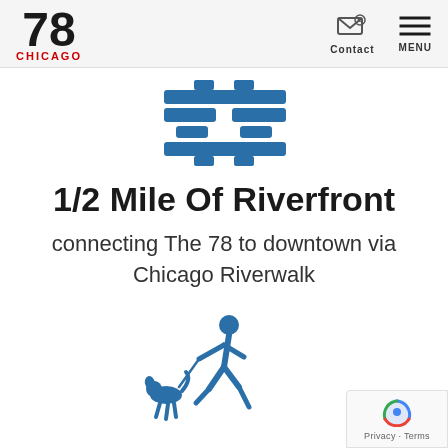78 CHICAGO — Contact | MENU
[Figure (illustration): Blue icon of a river/waterway with horizontal parallel lines suggesting flowing water or a walkway, in steel blue color]
1/2 Mile Of Riverfront
connecting The 78 to downtown via Chicago Riverwalk
[Figure (illustration): Blue icon of a person walking a dog on a leash, in steel blue color]